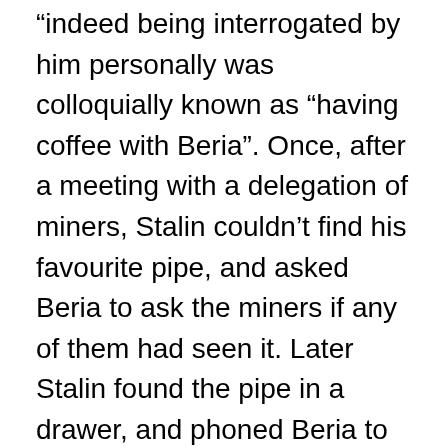indeed being interrogated by him personally was colloquially known as “having coffee with Beria”. Once, after a meeting with a delegation of miners, Stalin couldn’t find his favourite pipe, and asked Beria to ask the miners if any of them had seen it. Later Stalin found the pipe in a drawer, and phoned Beria to tell him. “What a pity,” was Beria’s reply, “They’ve all confessed!” In the Soviet Union, guilt or innocence were semantic issues, there was only the arrest, then the evidence would be found, and then you were done for. One of the more bizarre charges against the Starostins was pieced together from a series of “confessions” obtained from friends of theirs. The allegations centred on a plot to assassinate Stalin at the 1937 exhibition of culture in Red Square. The Spartak players were on a float shaped like a giant football boot, and at a signal from Nikolai were to leap off and, using revolvers hidden in their football shorts, were to shoot